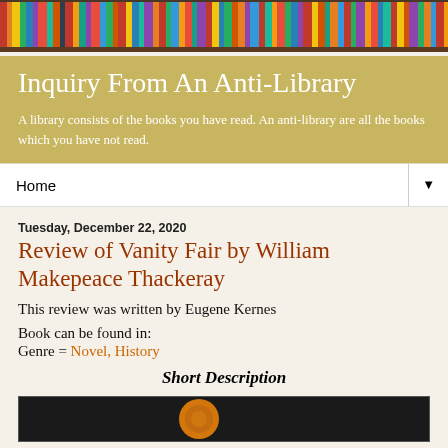[Figure (photo): Colorful bookshelf header image with spines of many books in various colors]
Inquiry From An Anti-Library
A library consists of the books you have read. An anti-library are all the books which you have not read.
Home
Tuesday, December 22, 2020
Review of Vanity Fair by William Makepeace Thackeray
This review was written by Eugene Kernes
Book can be found in:
Genre = Novel, History
Short Description
[Figure (photo): Partial book cover image with a circular orange/amber design on dark background]